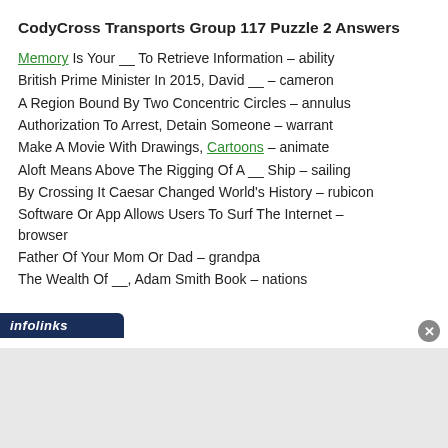CodyCross Transports Group 117 Puzzle 2 Answers
Memory Is Your __ To Retrieve Information – ability
British Prime Minister In 2015, David __ – cameron
A Region Bound By Two Concentric Circles – annulus
Authorization To Arrest, Detain Someone – warrant
Make A Movie With Drawings, Cartoons – animate
Aloft Means Above The Rigging Of A __ Ship – sailing
By Crossing It Caesar Changed World's History – rubicon
Software Or App Allows Users To Surf The Internet – browser
Father Of Your Mom Or Dad – grandpa
The Wealth Of __, Adam Smith Book – nations
infolinks